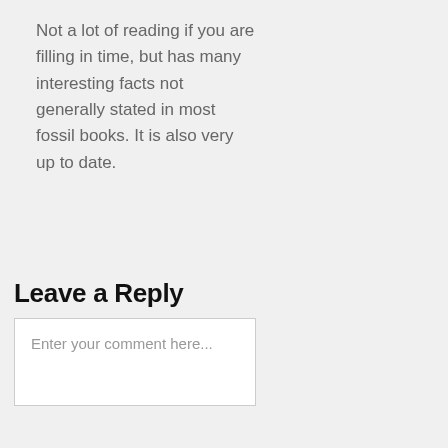Not a lot of reading if you are filling in time, but has many interesting facts not generally stated in most fossil books. It is also very up to date.
Reply
Leave a Reply
Enter your comment here...